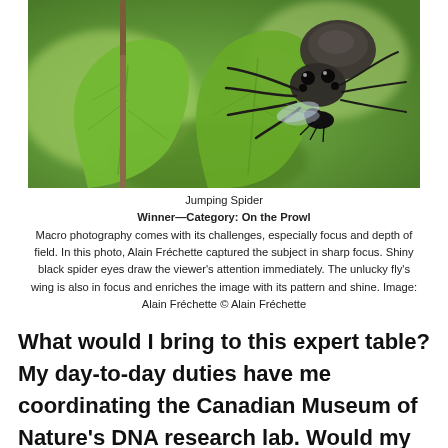[Figure (photo): Close-up macro photograph of a jumping spider on a bright green leaf, holding an unlucky fly. The spider has shiny black eyes and is shown in sharp focus against a blurred green background.]
Jumping Spider
Winner—Category: On the Prowl
Macro photography comes with its challenges, especially focus and depth of field. In this photo, Alain Fréchette captured the subject in sharp focus. Shiny black spider eyes draw the viewer's attention immediately. The unlucky fly's wing is also in focus and enriches the image with its pattern and shine. Image: Alain Fréchette © Alain Fréchette
What would I bring to this expert table? My day-to-day duties have me coordinating the Canadian Museum of Nature's DNA research lab. Would my opinions be of